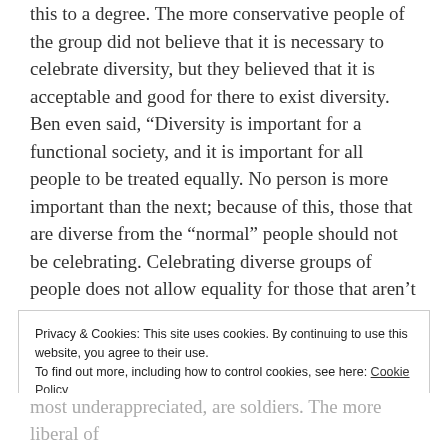this to a degree. The more conservative people of the group did not believe that it is necessary to celebrate diversity, but they believed that it is acceptable and good for there to exist diversity. Ben even said, “Diversity is important for a functional society, and it is important for all people to be treated equally. No person is more important than the next; because of this, those that are diverse from the “normal” people should not be celebrating. Celebrating diverse groups of people does not allow equality for those that aren’t considered ‘diverse.’”
Privacy & Cookies: This site uses cookies. By continuing to use this website, you agree to their use. To find out more, including how to control cookies, see here: Cookie Policy
most underappreciated, are soldiers. The more liberal of